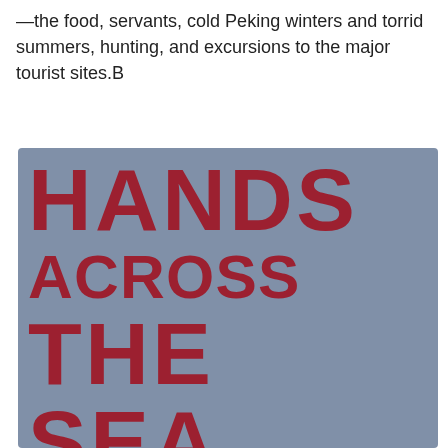—the food, servants, cold Peking winters and torrid summers, hunting, and excursions to the major tourist sites.B
[Figure (illustration): Book cover with blue-gray background and large bold dark red text reading 'HANDS ACROSS THE SEA' in three lines]